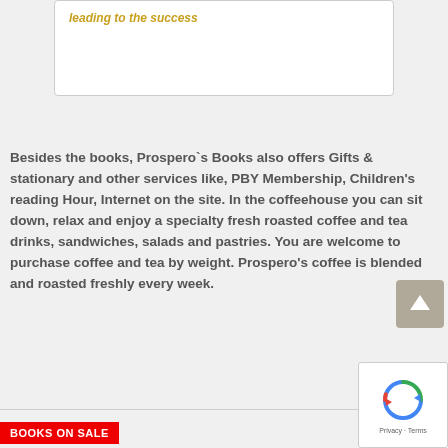leading to the success
Besides the books, Prospero`s Books also offers Gifts & stationary and other services like, PBY Membership, Children's reading Hour, Internet on the site. In the coffeehouse you can sit down, relax and enjoy a specialty fresh roasted coffee and tea drinks, sandwiches, salads and pastries. You are welcome to purchase coffee and tea by weight. Prospero's coffee is blended and roasted freshly every week.
[Figure (other): Scroll-to-top button, grey square with upward arrow]
[Figure (other): reCAPTCHA widget with Privacy and Terms links]
BOOKS ON SALE